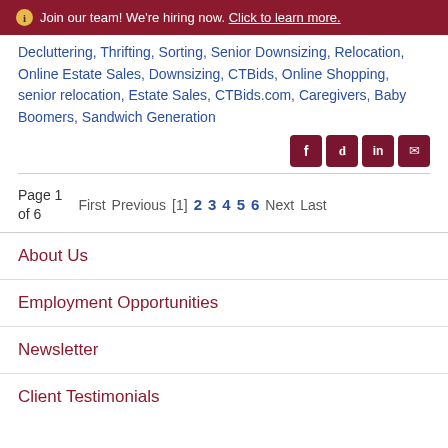Join our team! We're hiring now. Click to learn more.
Decluttering, Thrifting, Sorting, Senior Downsizing, Relocation, Online Estate Sales, Downsizing, CTBids, Online Shopping, senior relocation, Estate Sales, CTBids.com, Caregivers, Baby Boomers, Sandwich Generation
Social share icons: Facebook, Twitter, LinkedIn, Email
Page 1 of 6  First  Previous  [1]  2  3  4  5  6  Next  Last
About Us
Employment Opportunities
Newsletter
Client Testimonials